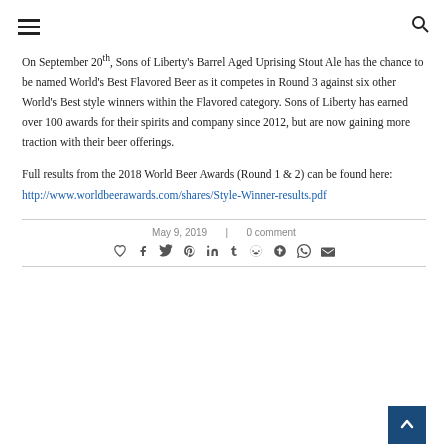[hamburger menu] [search icon]
On September 20th, Sons of Liberty's Barrel Aged Uprising Stout Ale has the chance to be named World's Best Flavored Beer as it competes in Round 3 against six other World's Best style winners within the Flavored category. Sons of Liberty has earned over 100 awards for their spirits and company since 2012, but are now gaining more traction with their beer offerings.
Full results from the 2018 World Beer Awards (Round 1 & 2) can be found here: http://www.worldbeerawards.com/shares/Style-Winner-results.pdf
May 9, 2019  |  0 comment
[social share icons: heart, facebook, twitter, pinterest, linkedin, tumblr, reddit, stumbleupon, whatsapp, email]